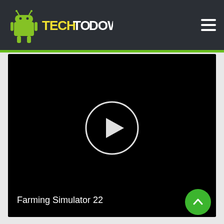TECHTODOWN
[Figure (screenshot): Video player with black background showing a play button circle in the center, with text 'Farming Simulator 22' in the lower left corner]
Farming Simulator 22